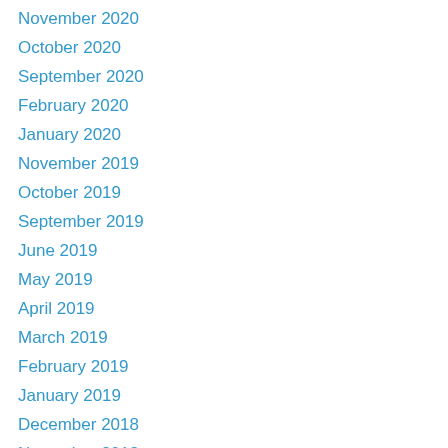November 2020
October 2020
September 2020
February 2020
January 2020
November 2019
October 2019
September 2019
June 2019
May 2019
April 2019
March 2019
February 2019
January 2019
December 2018
November 2018
October 2018
September 2018
June 2018
May 2018